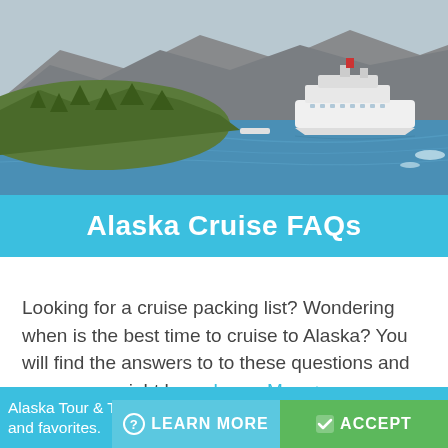[Figure (photo): Aerial view of an Alaskan fjord with a large cruise ship in blue water, surrounded by mountains and forested slopes]
Alaska Cruise FAQs
Looking for a cruise packing list? Wondering when is the best time to cruise to Alaska? You will find the answers to to these questions and many more right here. Learn More >
Alaska Tour & Travel uses cookies to track your trip selections and favorites.
LEARN MORE
ACCEPT